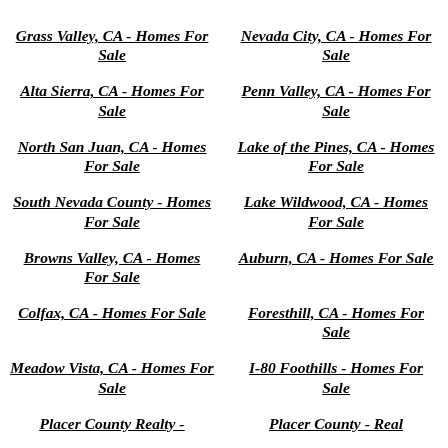Grass Valley, CA - Homes For Sale
Nevada City, CA - Homes For Sale
Alta Sierra, CA - Homes For Sale
Penn Valley, CA - Homes For Sale
North San Juan, CA - Homes For Sale
Lake of the Pines, CA - Homes For Sale
South Nevada County - Homes For Sale
Lake Wildwood, CA - Homes For Sale
Browns Valley, CA - Homes For Sale
Auburn, CA - Homes For Sale
Colfax, CA - Homes For Sale
Foresthill, CA - Homes For Sale
Meadow Vista, CA - Homes For Sale
I-80 Foothills - Homes For Sale
Placer County Realty -
Placer County - Real